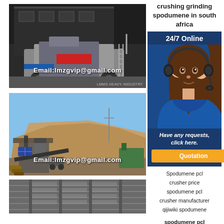[Figure (photo): Mobile crushing machine/equipment in front of industrial building, with email overlay: Email:lmzgvip@gmail.com and LMMS HEAVY INDUSTRY watermark]
crushing grinding spodumene in south africa
[Figure (photo): Customer service representative with headset, 24/7 Online chat widget with blue background, Have any requests, click here. text and Quotation button]
[Figure (photo): Open-pit mining/crushing site with large sand pile and equipment, Email:lmzgvip@gmail.com overlay]
Spodumene pcl crusher price spodumene pcl crusher manufacturer qijiwiki spodumene
spodumene pcl
[Figure (photo): Industrial building exterior, partial view at bottom of page]